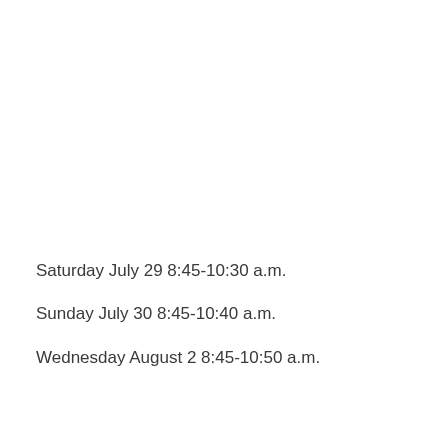Saturday July 29 8:45-10:30 a.m.
Sunday July 30 8:45-10:40 a.m.
Wednesday August 2 8:45-10:50 a.m.